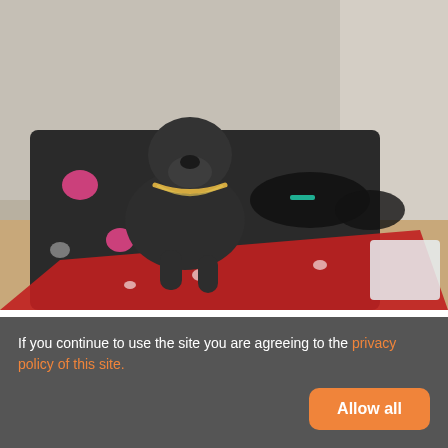[Figure (photo): A dark-colored Cane Corso dog wearing a gold chain collar standing on a dark patterned blanket with pink hearts and paw prints, with puppies lying in the background on a red blanket with white hearts, in an indoor setting.]
£2,500
9 [photo count badge]
Cane Corso puppies ♥
📍 Manchester, Greater Manchester, M2 5
18.5 miles from Ashton's Green
If you continue to use the site you are agreeing to the privacy policy of this site.